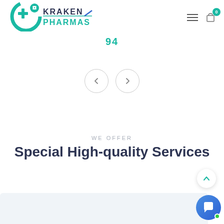[Figure (logo): Kraken Pharmas logo with teal medical cross icon and two-line wordmark KRAKEN PHARMAS]
[Figure (illustration): Navigation number 94 in teal above carousel left/right arrow buttons]
WE OFFER
Special High-quality Services
[Figure (illustration): Back to top arrow button (circle with upward arrow)]
[Figure (illustration): Chat bubble button with green online indicator dot at bottom right]